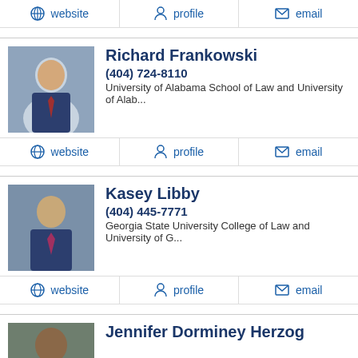website | profile | email
Richard Frankowski
(404) 724-8110
University of Alabama School of Law and University of Alab...
website | profile | email
Kasey Libby
(404) 445-7771
Georgia State University College of Law and University of G...
website | profile | email
Jennifer Dorminey Herzog